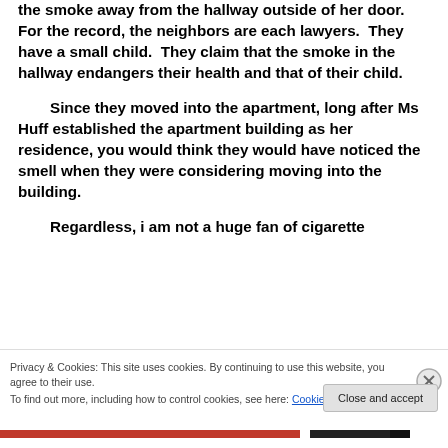the smoke away from the hallway outside of her door. For the record, the neighbors are each lawyers. They have a small child. They claim that the smoke in the hallway endangers their health and that of their child.
Since they moved into the apartment, long after Ms Huff established the apartment building as her residence, you would think they would have noticed the smell when they were considering moving into the building.
Regardless, i am not a huge fan of cigarette
Privacy & Cookies: This site uses cookies. By continuing to use this website, you agree to their use.
To find out more, including how to control cookies, see here: Cookie Policy